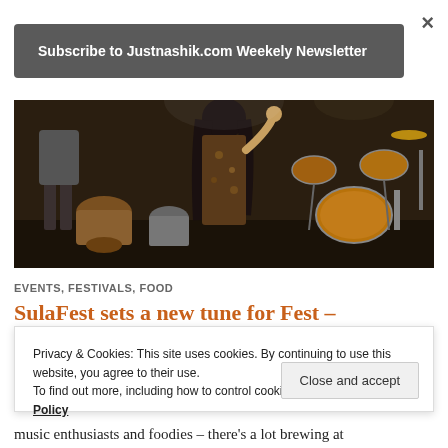×
Subscribe to Justnashik.com Weekely Newsletter
[Figure (photo): A music festival scene with performers on stage, including a person with long dark hair wearing a brown floral outfit, drum kit visible in the background with golden/amber colored drums]
EVENTS, FESTIVALS, FOOD
SulaFest sets a new tune for Fest –
Privacy & Cookies: This site uses cookies. By continuing to use this website, you agree to their use.
To find out more, including how to control cookies, see here: Cookie Policy
Close and accept
music enthusiasts and foodies – there's a lot brewing at